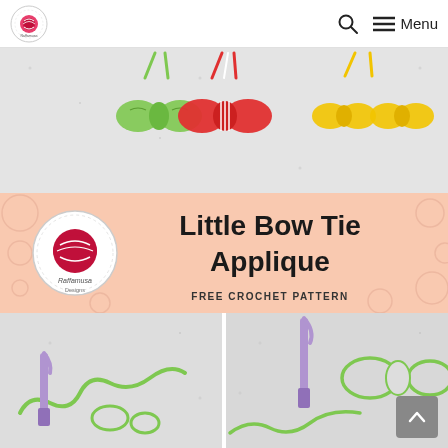Raffamusa Designs — Search | Menu
[Figure (photo): Three crocheted bow tie appliques in green, red, and yellow colors on a light speckled background, each with yarn tails at the top]
[Figure (infographic): Pink/salmon colored banner with Raffamusa Designs circular logo on the left and text 'Little Bow Tie Applique FREE CROCHET PATTERN' on the right, with decorative circles pattern]
[Figure (photo): Two side-by-side process photos showing crochet steps for making the bow tie applique with a purple crochet hook and green yarn]